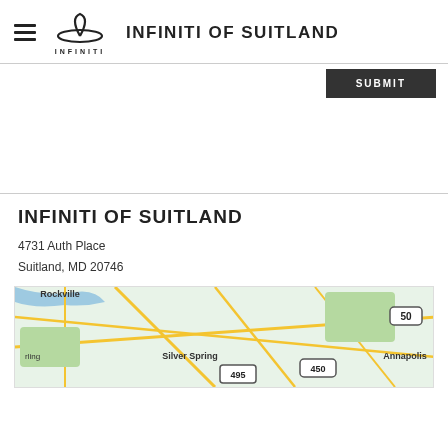INFINITI OF SUITLAND
[Figure (other): Submit button (dark/black background with SUBMIT text)]
INFINITI OF SUITLAND
4731 Auth Place
Suitland, MD 20746
[Figure (map): Google Maps showing area including Rockville, Silver Spring, Annapolis, with route 50, 450, 495 visible]